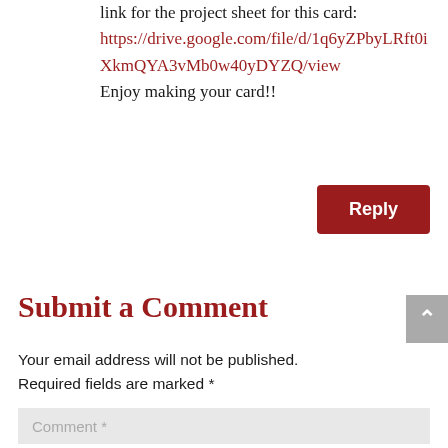link for the project sheet for this card: https://drive.google.com/file/d/1q6yZPbyLRft0iXkmQYA3vMb0w40yDYZQ/view Enjoy making your card!!
Reply
Submit a Comment
Your email address will not be published. Required fields are marked *
Comment *